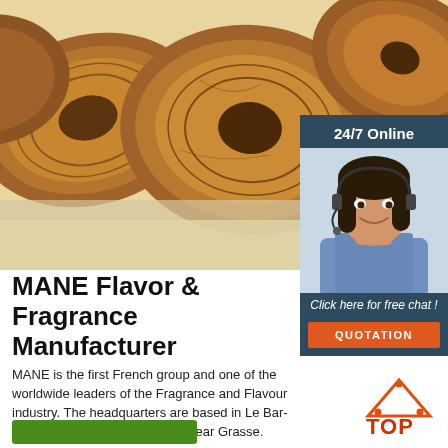[Figure (photo): Close-up photo of dried brown botanical slices (likely galangal or similar spice root) on a light background]
[Figure (photo): 24/7 Online chat panel showing a smiling woman with headset, with 'Click here for free chat!' text and orange QUOTATION button]
MANE Flavor & Fragrance Manufacturer
MANE is the first French group and one of the worldwide leaders of the Fragrance and Flavour industry. The headquarters are based in Le Bar-sur-Loup, in Southern France, near Grasse.
[Figure (logo): TOP logo with orange triangular mountain icon and red TOP text]